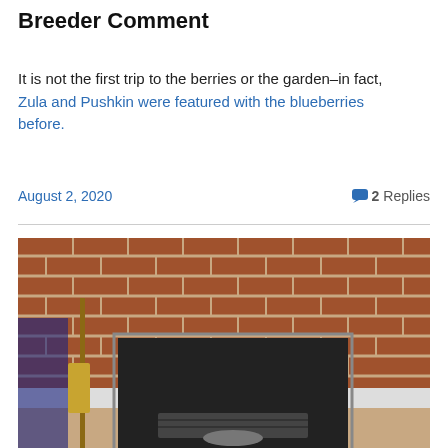Breeder Comment
It is not the first trip to the berries or the garden–in fact, Zula and Pushkin were featured with the blueberries before.
August 2, 2020   2 Replies
[Figure (photo): Photograph of a brick fireplace with a black metal firebox insert and a broom leaning against the brick wall to the left.]